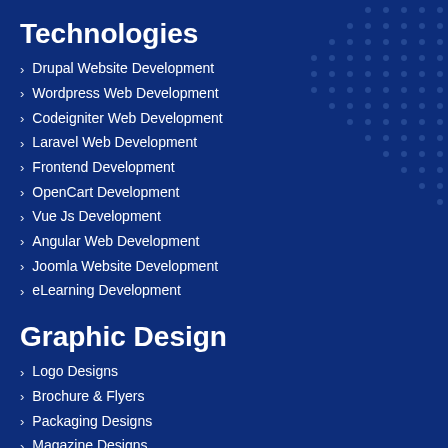Technologies
Drupal Website Development
Wordpress Web Development
Codeigniter Web Development
Laravel Web Development
Frontend Development
OpenCart Development
Vue Js Development
Angular Web Development
Joomla Website Development
eLearning Development
Graphic Design
Logo Designs
Brochure & Flyers
Packaging Designs
Magazine Designs